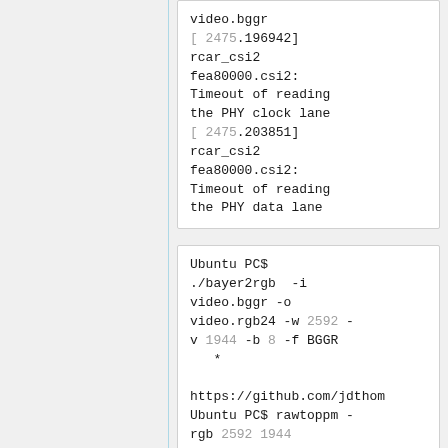video.bggr
[ 2475.196942] rcar_csi2 fea80000.csi2: Timeout of reading the PHY clock lane
[ 2475.203851] rcar_csi2 fea80000.csi2: Timeout of reading the PHY data lane
Ubuntu PC$ ./bayer2rgb  -i video.bggr -o video.rgb24 -w 2592 -v 1944 -b 8 -f BGGR *
https://github.com/jdthom
Ubuntu PC$ rawtoppm -rgb 2592 1944 video.rgb24 > video24.ppm
Ubuntu PC$ display